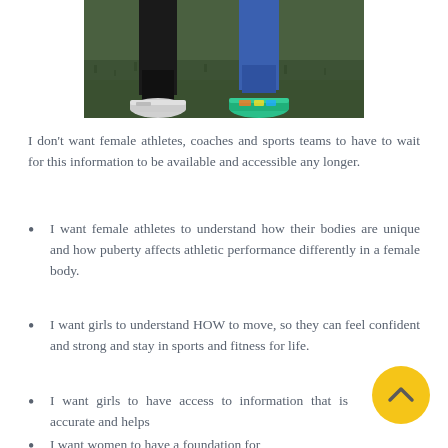[Figure (photo): Two people walking on grass, showing legs and feet only. One person wears dark pants with white sneakers, the other wears blue pants with colorful teal/green athletic shoes.]
I don't want female athletes, coaches and sports teams to have to wait for this information to be available and accessible any longer.
I want female athletes to understand how their bodies are unique and how puberty affects athletic performance differently in a female body.
I want girls to understand HOW to move, so they can feel confident and strong and stay in sports and fitness for life.
I want girls to have access to information that is accurate and helps them get their desired results and meet their own goals (whether that's playing at an elite level or for fun).
I want women to have a foundation for